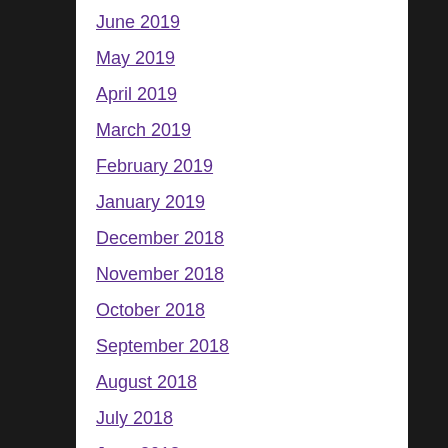June 2019
May 2019
April 2019
March 2019
February 2019
January 2019
December 2018
November 2018
October 2018
September 2018
August 2018
July 2018
June 2018
May 2018
April 2018
March 2018
February 2018